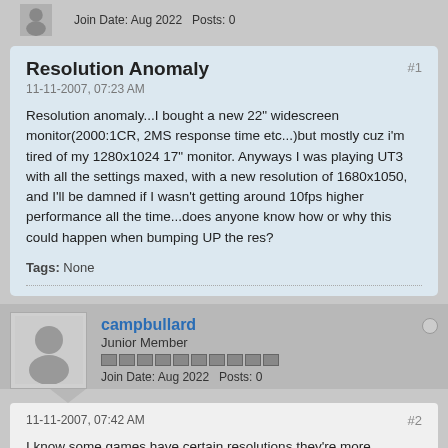Join Date: Aug 2022  Posts: 0
Resolution Anomaly
#1
11-11-2007, 07:23 AM
Resolution anomaly...I bought a new 22" widescreen monitor(2000:1CR, 2MS response time etc...)but mostly cuz i'm tired of my 1280x1024 17" monitor. Anyways I was playing UT3 with all the settings maxed, with a new resolution of 1680x1050, and I'll be damned if I wasn't getting around 10fps higher performance all the time...does anyone know how or why this could happen when bumping UP the res?
Tags: None
campbullard
Junior Member
Join Date: Aug 2022  Posts: 0
11-11-2007, 07:42 AM
#2
I know some games have certain resolutions they're more optimized at.